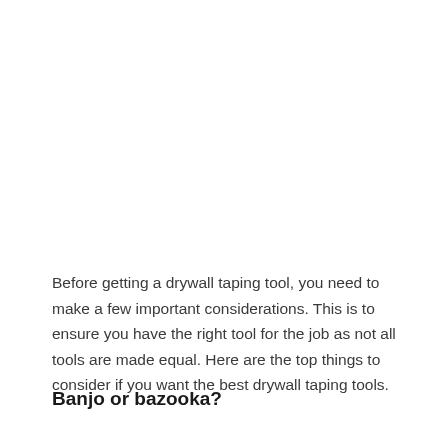Before getting a drywall taping tool, you need to make a few important considerations. This is to ensure you have the right tool for the job as not all tools are made equal. Here are the top things to consider if you want the best drywall taping tools.
Banjo or bazooka?